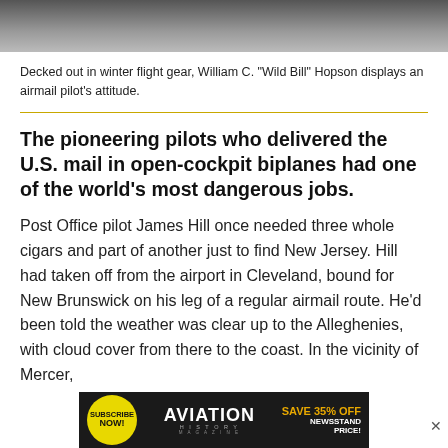[Figure (photo): Grayscale photo strip showing a person in winter flight gear at the top of the page]
Decked out in winter flight gear, William C. “Wild Bill” Hopson displays an airmail pilot’s attitude.
The pioneering pilots who delivered the U.S. mail in open-cockpit biplanes had one of the world’s most dangerous jobs.
Post Office pilot James Hill once needed three whole cigars and part of another just to find New Jersey. Hill had taken off from the airport in Cleveland, bound for New Brunswick on his leg of a regular airmail route. He’d been told the weather was clear up to the Alleghenies, with cloud cover from there to the coast. In the vicinity of Mercer,
[Figure (infographic): Advertisement banner: Subscribe Now! Aviation History Magazine. Save 35% Off Newsstand Price!]